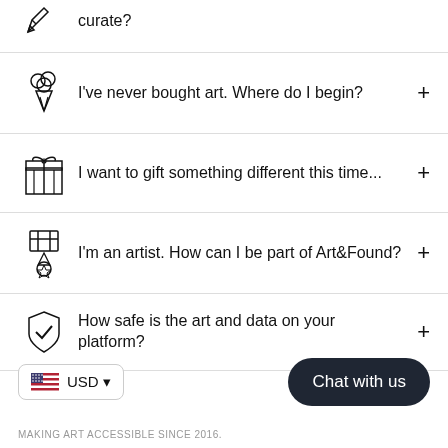curate?
I've never bought art. Where do I begin?
I want to gift something different this time...
I'm an artist. How can I be part of Art&Found?
How safe is the art and data on your platform?
Chat with us
USD
MAKING ART ACCESSIBLE SINCE 2016.